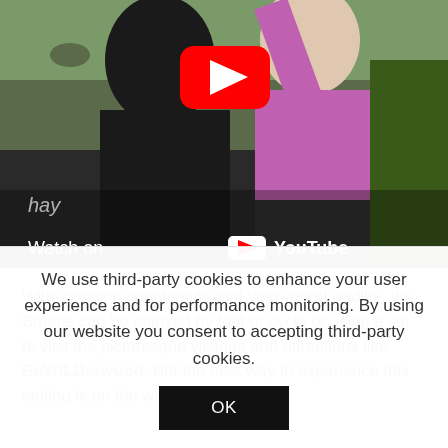[Figure (screenshot): YouTube video thumbnail showing two women high-fiving outdoors near water, with a red YouTube play button overlay and 'Watch on YouTube' text at the bottom left]
With stunning countryside and year-round wildlife, the Broads can be enjoyed by foot or cycle or using a car to visit the picturesque villages and attractions like BeWILDerwood. But the best way to experience this setting is on the water itself – you
We use third-party cookies to enhance your user experience and for performance monitoring. By using our website you consent to accepting third-party cookies.
OK